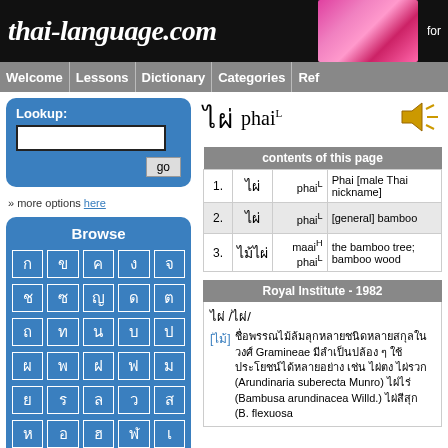thai-language.com
Welcome | Lessons | Dictionary | Categories | Ref
Lookup: [input] go | » more options here
Browse
ไผ่ phaiL
| # | Thai | Romanization | Definition |
| --- | --- | --- | --- |
| 1. | ไผ่ | phaiL | Phai [male Thai nickname] |
| 2. | ไผ่ | phaiL | [general] bamboo |
| 3. | ไม้ไผ่ | maaiH phaiL | the bamboo tree; bamboo wood |
Royal Institute - 1982
ไผ่ /ไผ่/ [ไม้] ชื่อไม้ไผ่หลายชนิดในสกุล ... Gramineae ... (Arundinaria suberecta Munro) ... (Bambusa arundinacea Willd.) ... (B. flexuosa